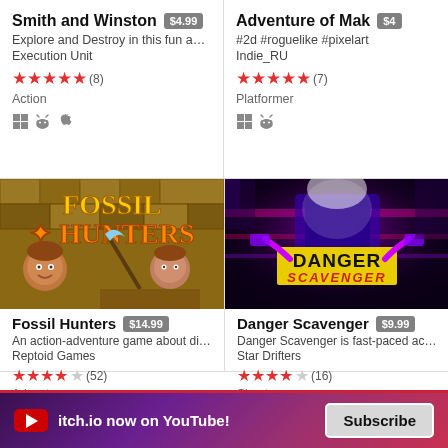Smith and Winston $4.99
Explore and Destroy in this fun advent...
Execution Unit
★★★★★ (8)
Action
Adventure of Mak $4
#2d #roguelike #pixelart
Indie_RU
★★★★★ (7)
Platformer
[Figure (illustration): Fossil Hunters game cover art showing two cartoon characters with a pickaxe against a stone wall background with the title Fossil Hunters]
Fossil Hunters $14.99
An action-adventure game about diggi...
Reptoid Games
★★★★☆ (52)
Adventure
[Figure (illustration): Danger Scavenger game cover art with a robot holding a glowing device, neon pink and purple colors, with the title Danger Scavenger on a yellow banner]
Danger Scavenger $9.99
Danger Scavenger is fast-paced action,...
Star Drifters
★★★★☆ (16)
Shooter
itch.io now on YouTube!
Subscribe